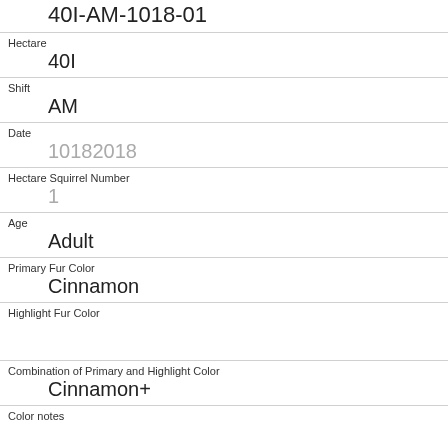40I-AM-1018-01
Hectare
40I
Shift
AM
Date
10182018
Hectare Squirrel Number
1
Age
Adult
Primary Fur Color
Cinnamon
Highlight Fur Color
Combination of Primary and Highlight Color
Cinnamon+
Color notes
Location
Ground Plane